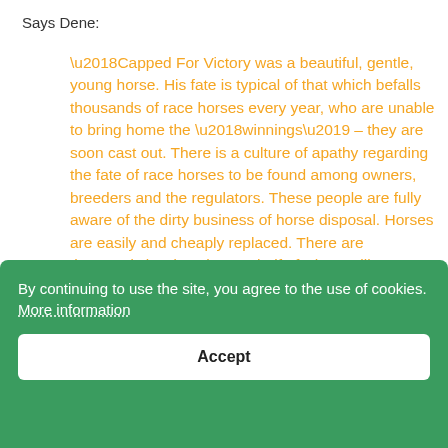Says Dene:
‘Capped For Victory was a beautiful, gentle, young horse. His fate is typical of that which befalls thousands of race horses every year, who are unable to bring home the ‘winnings’ – they are soon cast out. There is a culture of apathy regarding the fate of race horses to be found among owners, breeders and the regulators. These people are fully aware of the dirty business of horse disposal. Horses are easily and cheaply replaced. There are thousands bred each year, half of whom will never race. And those who do can also soon end up on the same path as Capped For Victory. Animal Aid is now much more able this... have the support of the 100 MPs who have signed a strongly-worded ... accountable and responsible.’
By continuing to use the site, you agree to the use of cookies. More information
Accept